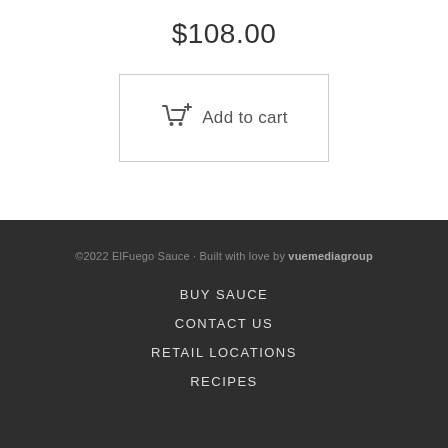$108.00
[Figure (other): Add to cart button with shopping cart icon]
©2022 ElFuego Sauce · Built with love by vuemediagroup
BUY SAUCE
CONTACT US
RETAIL LOCATIONS
RECIPES